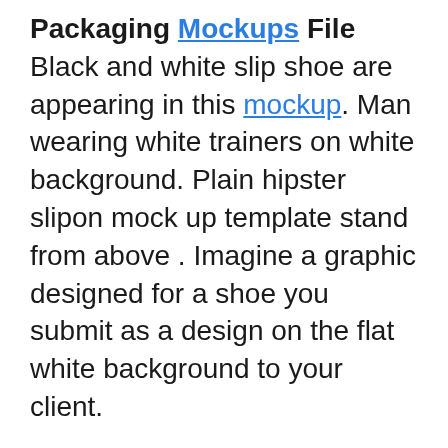Packaging Mockups File Black and white slip shoe are appearing in this mockup. Man wearing white trainers on white background. Plain hipster slipon mock up template stand from above . Imagine a graphic designed for a shoe you submit as a design on the flat white background to your client.